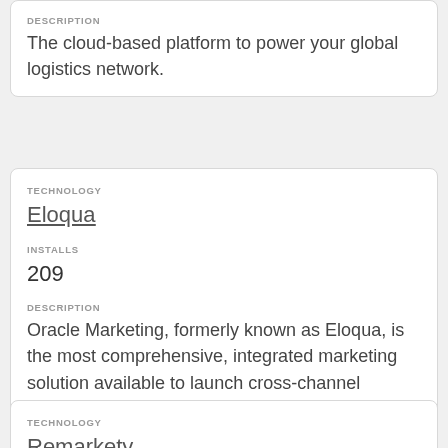DESCRIPTION
The cloud-based platform to power your global logistics network.
TECHNOLOGY
Eloqua
INSTALLS
209
DESCRIPTION
Oracle Marketing, formerly known as Eloqua, is the most comprehensive, integrated marketing solution available to launch cross-channel marketing programs and unify all prospect and customer marketing signals in a single view.
TECHNOLOGY
Remarkety